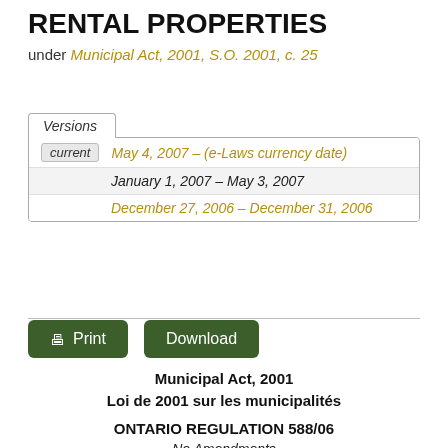RENTAL PROPERTIES
under Municipal Act, 2001, S.O. 2001, c. 25
Versions
current  May 4, 2007 – (e-Laws currency date)
January 1, 2007 – May 3, 2007
December 27, 2006 – December 31, 2006
Print   Download
Municipal Act, 2001
Loi de 2001 sur les municipalités
ONTARIO REGULATION 588/06
No Amendments